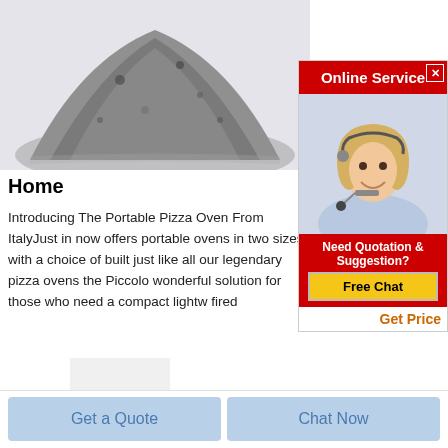[Figure (photo): Gray powder pile on white background]
Home
Introducing The Portable Pizza Oven From ItalyJust in now offers portable ovens in two sizes with a choice of built just like all our legendary pizza ovens the Piccolo wonderful solution for those who need a compact lightw fired
[Figure (infographic): Online Service ad panel with woman wearing headset. Contains 'Online Service' header, 'Need Quotation & Suggestion?', 'Free Chat' button, 'Get Price' link]
[Figure (photo): Gray powder pile - partial view at bottom of page]
Get a Quote
Chat Now